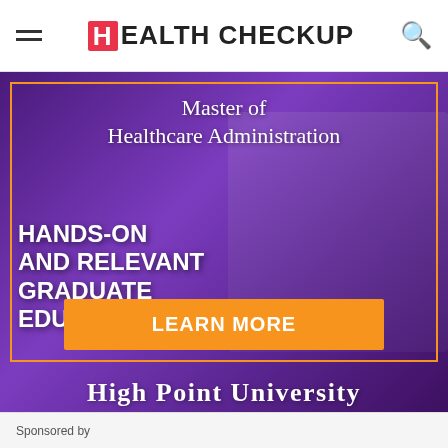HEALTH CHECKUP
[Figure (illustration): Advertisement banner for High Point University Master of Healthcare Administration program. Purple background with photo of two people (woman in dark clothing and man in white lab coat) shaking hands. Orange decorative border frame. Text: 'Master of Healthcare Administration', 'HANDS-ON AND RELEVANT GRADUATE EDUCATION', 'LEARN MORE' button, 'HIGH POINT UNIVERSITY'.]
Sponsored by